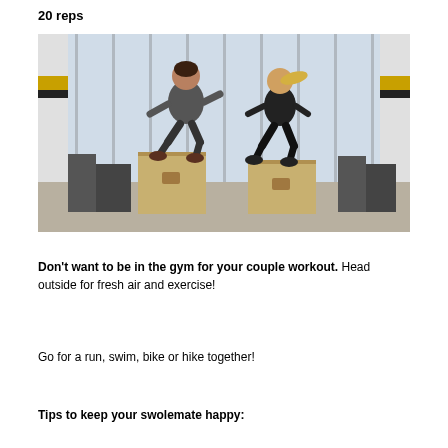20 reps
[Figure (photo): Two people (a man and a woman) doing box jumps in a gym with large windows. Both are mid-air above wooden plyo boxes, with gym equipment visible in the background.]
Don't want to be in the gym for your couple workout. Head outside for fresh air and exercise!
Go for a run, swim, bike or hike together!
Tips to keep your swolemate happy: